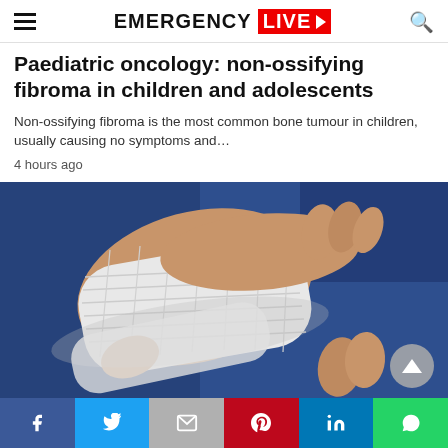EMERGENCY LIVE
Paediatric oncology: non-ossifying fibroma in children and adolescents
Non-ossifying fibroma is the most common bone tumour in children, usually causing no symptoms and…
4 hours ago
[Figure (photo): Hands wrapping a white gauze bandage around another person's hand, against a blue background]
Social sharing bar with Facebook, Twitter, Email (M), Pinterest, LinkedIn, WhatsApp